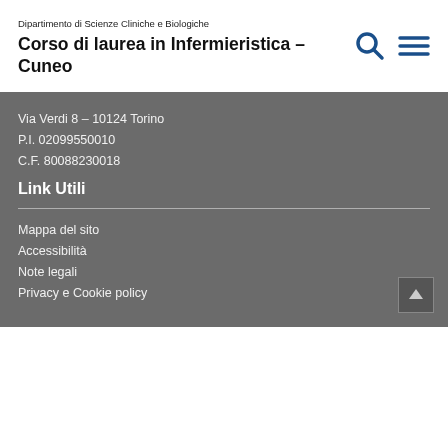Dipartimento di Scienze Cliniche e Biologiche
Corso di laurea in Infermieristica – Cuneo
Via Verdi 8 – 10124 Torino
P.I. 02099550010
C.F. 80088230018
Link Utili
Mappa del sito
Accessibilità
Note legali
Privacy e Cookie policy